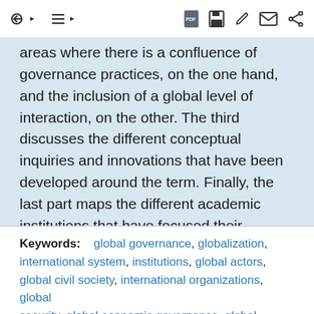[toolbar with navigation and action icons]
areas where there is a confluence of governance practices, on the one hand, and the inclusion of a global level of interaction, on the other. The third discusses the different conceptual inquiries and innovations that have been developed around the term. Finally, the last part maps the different academic institutions that have focused their research on global governance and offer programs on this subject.
Keywords: global governance, globalization, international system, institutions, global actors, global civil society, international organizations, global security, global economic governance, global environment